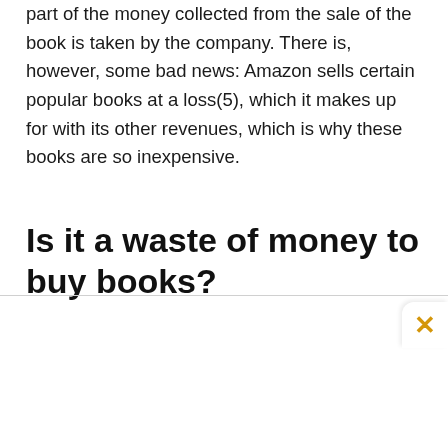part of the money collected from the sale of the book is taken by the company. There is, however, some bad news: Amazon sells certain popular books at a loss(5), which it makes up for with its other revenues, which is why these books are so inexpensive.
Is it a waste of money to buy books?